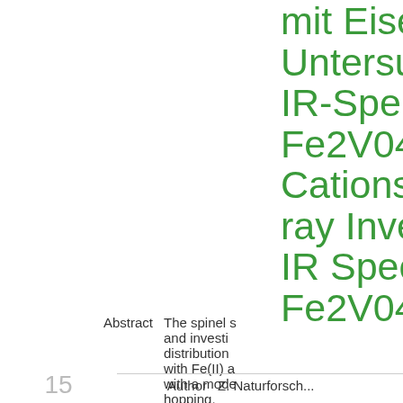mit Eise... Untersu... IR-Spekt... Fe2V04-... Cations... ray Inve... IR Spect... Fe2V04-...
Abstract: The spinel s... and investi... distribution... with Fe(II) a... with a mode... hopping.
Reference: Z. Naturforsch...
Published: 1980
Keywords: Zinc-Iron-Va... Hopping, Ca...
Similar Items: Find
15   Author   Z. Naturforsch...